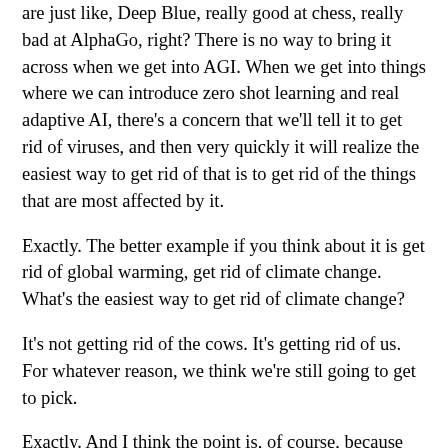are just like, Deep Blue, really good at chess, really bad at AlphaGo, right? There is no way to bring it across when we get into AGI. When we get into things where we can introduce zero shot learning and real adaptive AI, there's a concern that we'll tell it to get rid of viruses, and then very quickly it will realize the easiest way to get rid of that is to get rid of the things that are most affected by it.
Exactly. The better example if you think about it is get rid of global warming, get rid of climate change. What's the easiest way to get rid of climate change?
It's not getting rid of the cows. It's getting rid of us. For whatever reason, we think we're still going to get to pick.
Exactly. And I think the point is, of course, because all of our experience with technology so far has been with machines and machines behave like tools. We told them to do things and they did them. That's not the case with